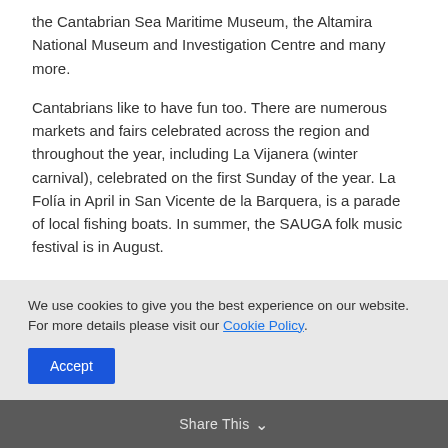the Cantabrian Sea Maritime Museum, the Altamira National Museum and Investigation Centre and many more.
Cantabrians like to have fun too. There are numerous markets and fairs celebrated across the region and throughout the year, including La Vijanera (winter carnival), celebrated on the first Sunday of the year. La Folía in April in San Vicente de la Barquera, is a parade of local fishing boats. In summer, the SAUGA folk music festival is in August.
Limited ingredients create a brilliant
We use cookies to give you the best experience on our website. For more details please visit our Cookie Policy.
Accept
Share This